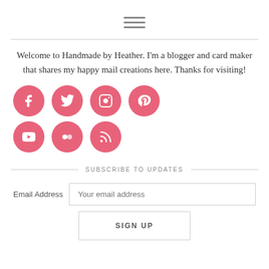[Figure (other): Hamburger menu icon — three horizontal lines stacked vertically]
Welcome to Handmade by Heather. I'm a blogger and card maker that shares my happy mail creations here. Thanks for visiting!
[Figure (infographic): Social media icons in pink circles: Facebook, Twitter, Instagram, Pinterest (top row); YouTube, Flickr, RSS (bottom row)]
SUBSCRIBE TO UPDATES
Email Address  Your email address
SIGN UP